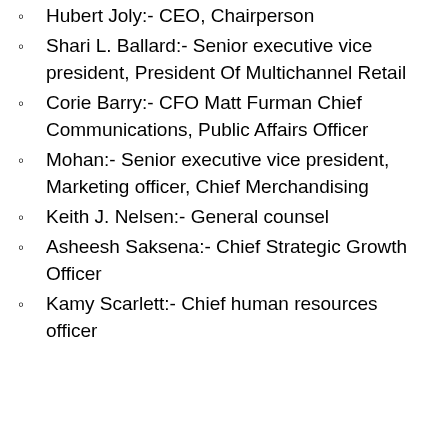Hubert Joly:- CEO, Chairperson
Shari L. Ballard:- Senior executive vice president, President Of Multichannel Retail
Corie Barry:- CFO Matt Furman Chief Communications, Public Affairs Officer
Mohan:- Senior executive vice president, Marketing officer, Chief Merchandising
Keith J. Nelsen:- General counsel
Asheesh Saksena:- Chief Strategic Growth Officer
Kamy Scarlett:- Chief human resources officer